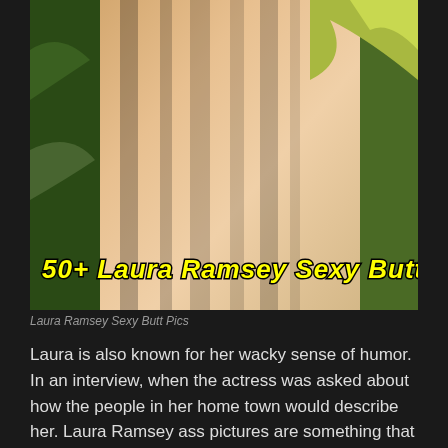[Figure (photo): Outdoor photo with warm sunlit tones, vegetation in background, overlaid with yellow bold italic title text '50+ Laura Ramsey Sexy Butt Pics']
Laura Ramsey Sexy Butt Pics
Laura is also known for her wacky sense of humor. In an interview, when the actress was asked about how the people in her home town would describe her. Laura Ramsey ass pictures are something that is heavily searched on the Internet, and we have a massive compilation of Laura Ramsey booty pics